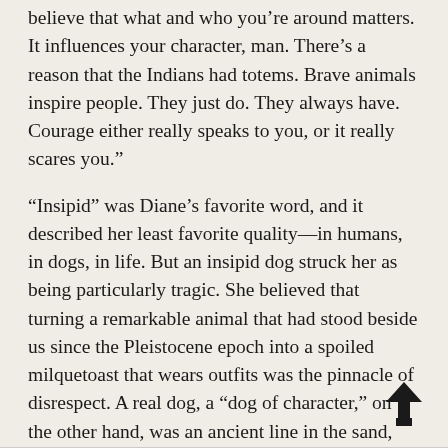believe that what and who you’re around matters. It influences your character, man. There’s a reason that the Indians had totems. Brave animals inspire people. They just do. They always have. Courage either really speaks to you, or it really scares you.”
“Insipid” was Diane’s favorite word, and it described her least favorite quality—in humans, in dogs, in life. But an insipid dog struck her as being particularly tragic. She believed that turning a remarkable animal that had stood beside us since the Pleistocene epoch into a spoiled milquetoast that wears outfits was the pinnacle of disrespect. A real dog, a “dog of character,” on the other hand, was an ancient line in the sand, drawn against a feckless modern world that, at its core, feels contempt for the natural instincts of creatures it claims to love.